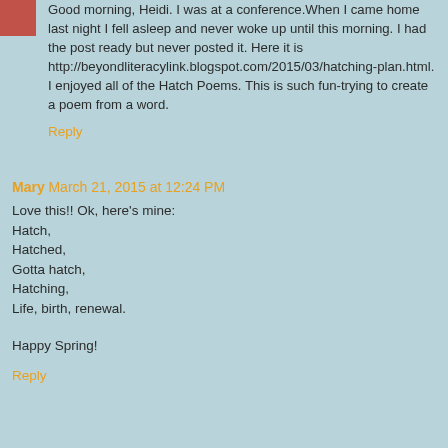Good morning, Heidi. I was at a conference.When I came home last night I fell asleep and never woke up until this morning. I had the post ready but never posted it. Here it is http://beyondliteracylink.blogspot.com/2015/03/hatching-plan.html.
I enjoyed all of the Hatch Poems. This is such fun-trying to create a poem from a word.
Reply
Mary March 21, 2015 at 12:24 PM
Love this!! Ok, here's mine:
Hatch,
Hatched,
Gotta hatch,
Hatching,
Life, birth, renewal.

Happy Spring!
Reply